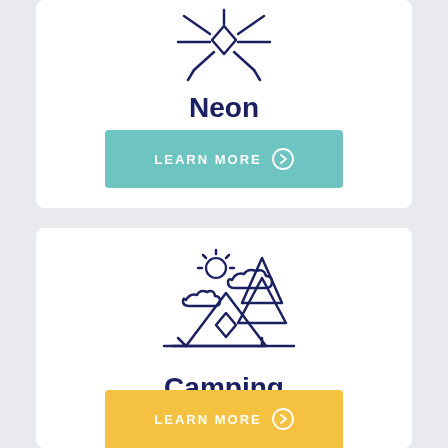[Figure (illustration): Neon light icon — abstract figure with rays/lines, drawn in dark navy outline style]
Neon
[Figure (illustration): Button: LEARN MORE with circled arrow icon, teal background]
[Figure (illustration): Camping scene icon — tent, pine tree, clouds, and sun, drawn in dark navy outline style]
Camping
[Figure (illustration): Button: LEARN MORE with circled arrow icon, yellow background]